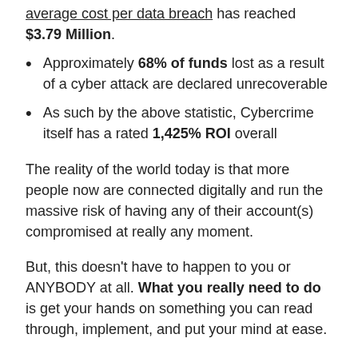average cost per data breach has reached $3.79 Million.
Approximately 68% of funds lost as a result of a cyber attack are declared unrecoverable
As such by the above statistic, Cybercrime itself has a rated 1,425% ROI overall
The reality of the world today is that more people now are connected digitally and run the massive risk of having any of their account(s) compromised at really any moment.
But, this doesn't have to happen to you or ANYBODY at all. What you really need to do is get your hands on something you can read through, implement, and put your mind at ease.
Once I had my mishap, I looked into online account